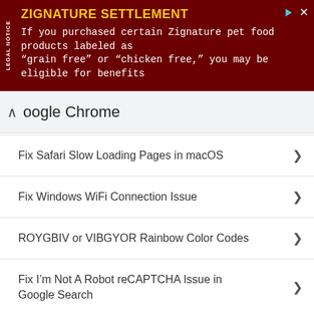[Figure (screenshot): Advertisement banner for Zignature Settlement with dark red background. Legal notice text: 'ZIGNATURE SETTLEMENT - If you purchased certain Zignature pet food products labeled as "grain free" or "chicken free," you may be eligible for benefits']
oogle Chrome
Fix Safari Slow Loading Pages in macOS
Fix Windows WiFi Connection Issue
ROYGBIV or VIBGYOR Rainbow Color Codes
Fix I'm Not A Robot reCAPTCHA Issue in Google Search
Structure of HTTP Request and Response